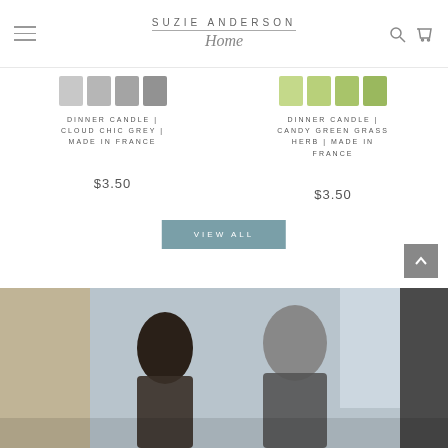SUZIE ANDERSON Home
[Figure (photo): Grey dinner candle swatches - 4 candle color swatches in shades of grey]
DINNER CANDLE | CLOUD CHIC GREY | MADE IN FRANCE
$3.50
[Figure (photo): Green dinner candle swatches - 4 candle color swatches in shades of green]
DINNER CANDLE | CANDY GREEN GRASS HERB | MADE IN FRANCE
$3.50
VIEW ALL
[Figure (photo): Photo of a man and woman, appears to be store owners or brand representatives]